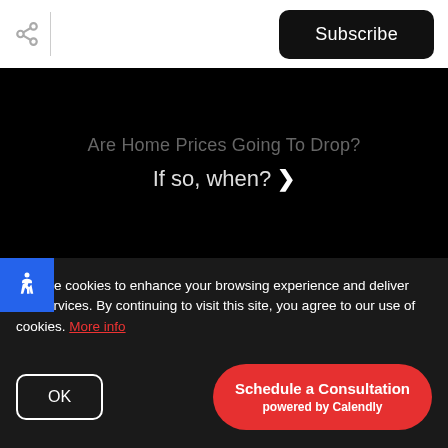Subscribe
Are Home Prices Going To Drop?
If so, when? ❯
an average of 2% higher than homes listed by agents
We use cookies to enhance your browsing experience and deliver our services. By continuing to visit this site, you agree to our use of cookies. More info
OK
Schedule a Consultation powered by Calendly